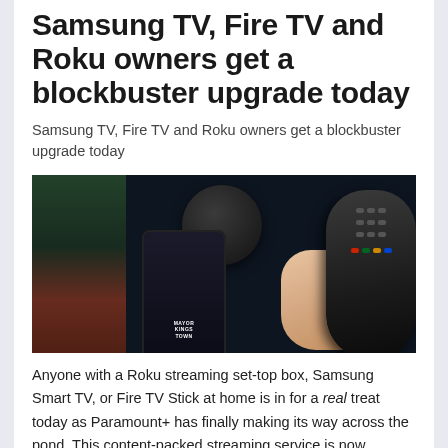Samsung TV, Fire TV and Roku owners get a blockbuster upgrade today
Samsung TV, Fire TV and Roku owners get a blockbuster upgrade today
[Figure (photo): A hand holding a TV remote control against a dark background, with a smartphone displaying 'Mayor of Kingstown' content and a streaming dongle visible, alongside a TV screen showing a woman.]
Anyone with a Roku streaming set-top box, Samsung Smart TV, or Fire TV Stick at home is in for a real treat today as Paramount+ has finally making its way across the pond. This content-packed streaming service is now available across